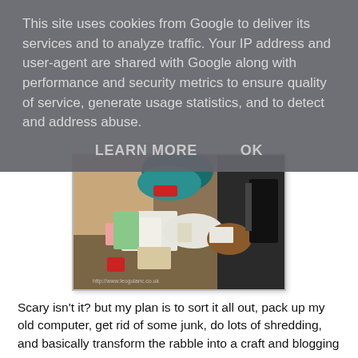This site uses cookies from Google to deliver its services and to analyze traffic. Your IP address and user-agent are shared with Google along with performance and security metrics to ensure quality of service, generate usage statistics, and to detect and address abuse.
LEARN MORE    OK
[Figure (photo): A cluttered room with bags, papers, boxes and various items piled up. A watermark reads http://www.leogulanc.co.uk]
Scary isn't it? but my plan is to sort it all out, pack up my old computer, get rid of some junk, do lots of shredding, and basically transform the rabble into a craft and blogging room.
The next task will be too attack my bedroom, and give it a good sort and clear out. I'm not a huge hoarder but I just